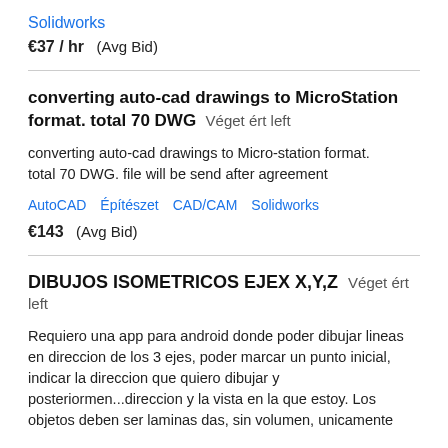Solidworks
€37 / hr  (Avg Bid)
converting auto-cad drawings to MicroStation format. total 70 DWG  Véget ért left
converting auto-cad drawings to Micro-station format. total 70 DWG. file will be send after agreement
AutoCAD  Építészet  CAD/CAM  Solidworks
€143  (Avg Bid)
DIBUJOS ISOMETRICOS EJEX X,Y,Z  Véget ért left
Requiero una app para android donde poder dibujar lineas en direccion de los 3 ejes, poder marcar un punto inicial, indicar la direccion que quiero dibujar y posteriormen...direccion y la que estoy. Los objetos deben ser laminas das, sin volumen, unicamente